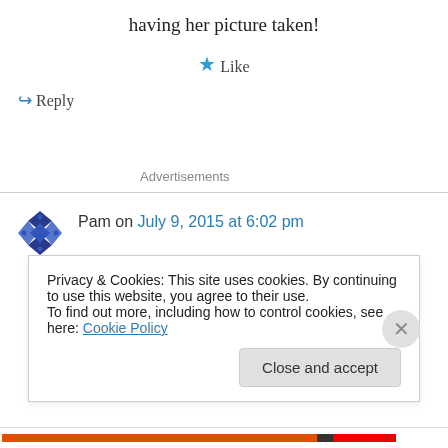having her picture taken!
★ Like
↪ Reply
Advertisements
Pam on July 9, 2015 at 6:02 pm
I will never delete those pics my grandkids take
Privacy & Cookies: This site uses cookies. By continuing to use this website, you agree to their use.
To find out more, including how to control cookies, see here: Cookie Policy
Close and accept